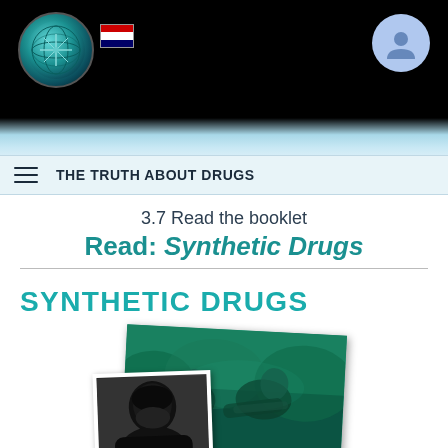[Figure (screenshot): Black header bar with globe logo, small flag icon, and user account icon on a website navigation]
THE TRUTH ABOUT DRUGS
3.7 Read the booklet
Read: Synthetic Drugs
SYNTHETIC DRUGS
[Figure (photo): A green-tinted photo of people, overlapping with a smaller black-and-white photograph below it]